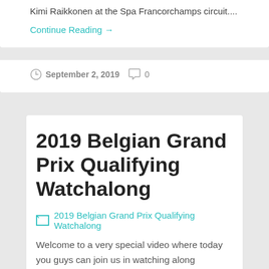Kimi Raikkonen at the Spa Francorchamps circuit....
Continue Reading →
September 2, 2019  0
2019 Belgian Grand Prix Qualifying Watchalong
[Figure (photo): Broken image placeholder for 2019 Belgian Grand Prix Qualifying Watchalong]
Welcome to a very special video where today you guys can join us in watching along qualifying for the 2019 Belgian Grand Prix at Spa, Belgium. First off we will take a look at Mercedes,Ferrari,Red Bull and all